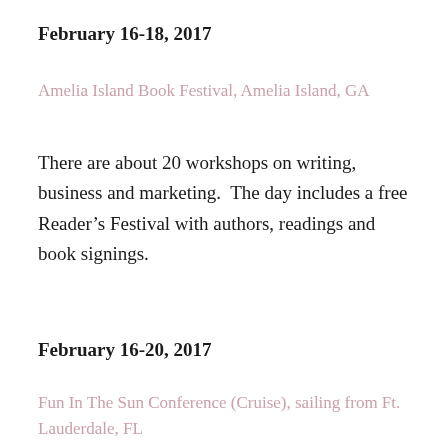February 16-18, 2017
Amelia Island Book Festival, Amelia Island, GA
There are about 20 workshops on writing, business and marketing.  The day includes a free Reader’s Festival with authors, readings and book signings.
February 16-20, 2017
Fun In The Sun Conference (Cruise), sailing from Ft. Lauderdale, FL